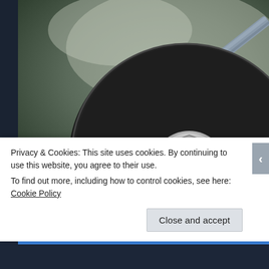[Figure (photo): Close-up photograph of the bottom of a black cast iron skillet with a silver/metal logo embossed on it, and a metal handle extending to the upper right. The background is blurred and dark greenish-grey.]
Privacy & Cookies: This site uses cookies. By continuing to use this website, you agree to their use.
To find out more, including how to control cookies, see here: Cookie Policy
Close and accept